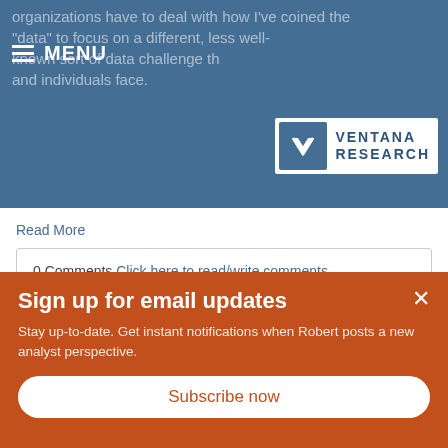organizations have to deal with how I've coined the "data" to focus on a different, less well-known sort of data challenge that and individuals face.
MENU
[Figure (logo): Ventana Research logo with stylized V in blue box and text 'Ventana Research']
Read More
0 Comments Click here to read/write comments
Topics: Big Data, Data Science, Planning, Predictive Analytics, Social Media, FP&A, Office of Finance, Operational Performance
Sign up for email updates
Stay up-to-date. Get instant notifications when Robert posts a new analyst perspective.
Subscribe now